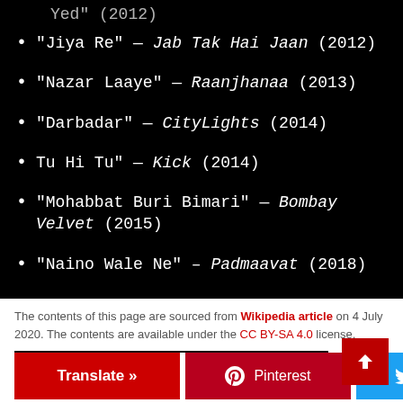"Jiya Re" — Jab Tak Hai Jaan (2012)
"Nazar Laaye" — Raanjhanaa (2013)
"Darbadar" — CityLights (2014)
Tu Hi Tu" — Kick (2014)
"Mohabbat Buri Bimari" — Bombay Velvet (2015)
"Naino Wale Ne" – Padmaavat (2018)
The contents of this page are sourced from Wikipedia article on 4 July 2020. The contents are available under the CC BY-SA 4.0 license.